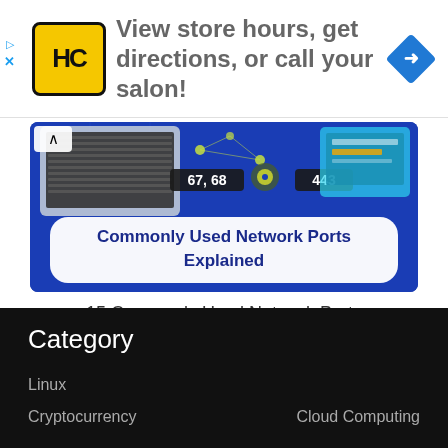[Figure (infographic): Advertisement banner with HC salon logo, text 'View store hours, get directions, or call your salon!' and a blue navigation/directions diamond icon. Small play/ad icons on the left edge.]
[Figure (infographic): Thumbnail image for '15 Commonly Used Network Ports Explained' article — blue background with laptop, network nodes, port numbers 67,68 and 443 shown in dark badges, and bold white text 'Commonly Used Network Ports Explained' on a white rounded banner.]
15 Commonly Used Network Ports Explained
Category
Linux
Cryptocurrency
Cloud Computing